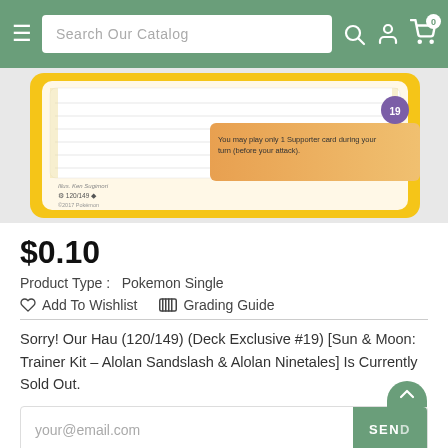Search Our Catalog
[Figure (photo): Pokemon card back showing Hau (120/149) Deck Exclusive #19 from Sun & Moon Trainer Kit, with yellow border and orange text box stating 'You may play only 1 Supporter card during your turn (before your attack).' Illustrated by Ken Sugimori. Number 19 shown in purple circle.]
$0.10
Product Type :   Pokemon Single
Add To Wishlist   Grading Guide
Sorry! Our Hau (120/149) (Deck Exclusive #19) [Sun & Moon: Trainer Kit - Alolan Sandslash & Alolan Ninetales] Is Currently   Sold Out.
your@email.com